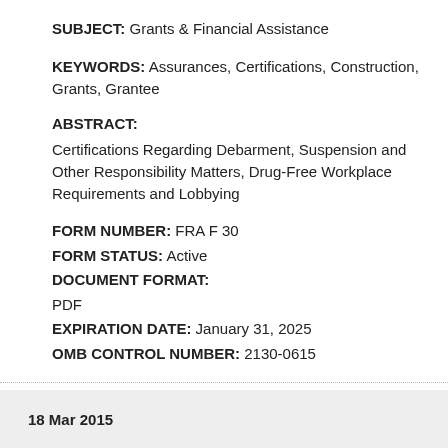SUBJECT: Grants & Financial Assistance
KEYWORDS: Assurances, Certifications, Construction, Grants, Grantee
ABSTRACT:
Certifications Regarding Debarment, Suspension and Other Responsibility Matters, Drug-Free Workplace Requirements and Lobbying
FORM NUMBER: FRA F 30
FORM STATUS: Active
DOCUMENT FORMAT: PDF
EXPIRATION DATE: January 31, 2025
OMB CONTROL NUMBER: 2130-0615
18 Mar 2015